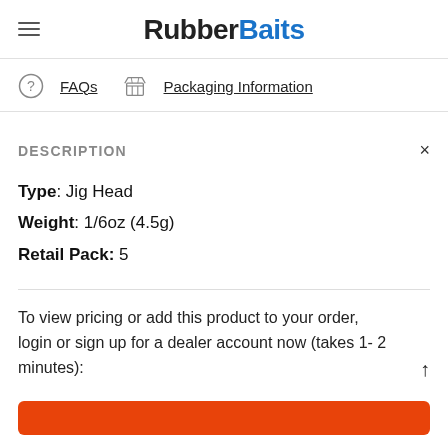RubberBaits
FAQs   Packaging Information
DESCRIPTION
Type: Jig Head
Weight: 1/6oz (4.5g)
Retail Pack: 5
To view pricing or add this product to your order, login or sign up for a dealer account now (takes 1- 2 minutes):